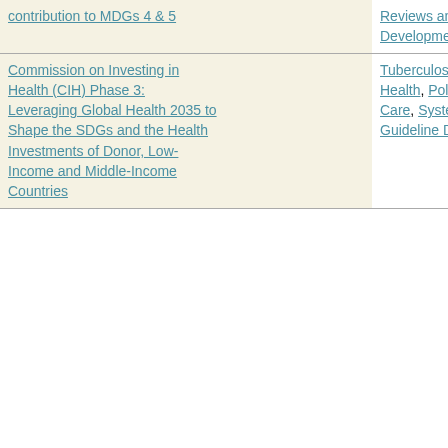| contribution to MDGs 4 & 5 |  | Reviews and Guideline Development |  |  |
| Commission on Investing in Health (CIH) Phase 3: Leveraging Global Health 2035 to Shape the SDGs and the Health Investments of Donor, Low-Income and Middle-Income Countries |  | Tuberculosis, Malaria, Women's Health, Policy and Standards of Care, Systematic Reviews and Guideline Development | 10/23/14 | 1/31/17 |